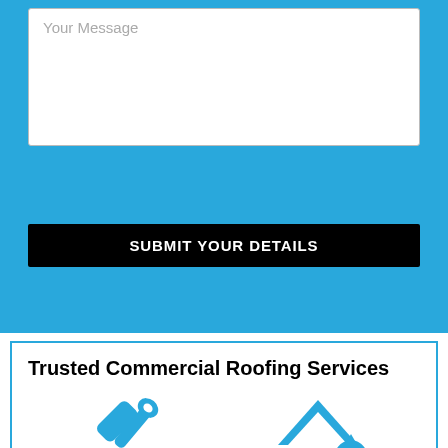[Figure (screenshot): Contact form message textarea with placeholder 'Your Message' on blue background]
SUBMIT YOUR DETAILS
Trusted Commercial Roofing Services
[Figure (illustration): Two blue icons: tools (wrench and hammer crossed) on the left, and roof with water drop on the right]